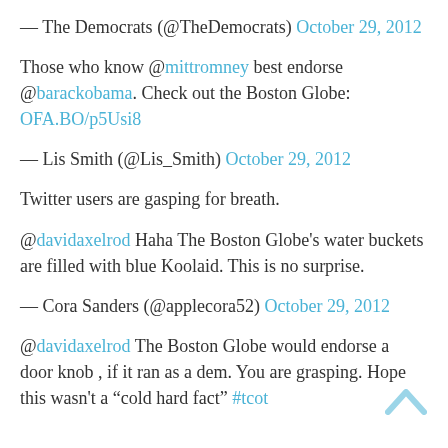— The Democrats (@TheDemocrats) October 29, 2012
Those who know @mittromney best endorse @barackobama. Check out the Boston Globe: OFA.BO/p5Usi8
— Lis Smith (@Lis_Smith) October 29, 2012
Twitter users are gasping for breath.
@davidaxelrod Haha The Boston Globe's water buckets are filled with blue Koolaid. This is no surprise.
— Cora Sanders (@applecora52) October 29, 2012
@davidaxelrod The Boston Globe would endorse a door knob , if it ran as a dem. You are grasping. Hope this wasn't a “cold hard fact” #tcot